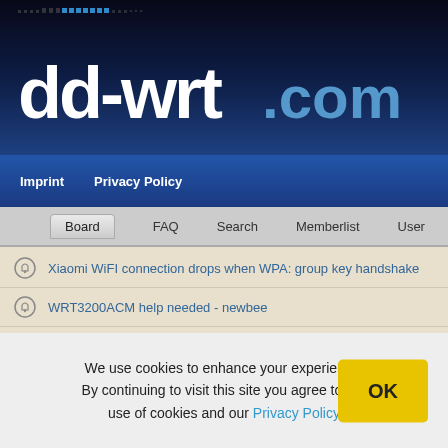[Figure (logo): dd-wrt.com logo with dark blue gradient header background and dot pattern]
Imprint   Privacy Policy
Board
FAQ
Search
Memberlist
User
Xiaomi WiFI connection drops when WPA: group key handshake
WRT3200ACM help needed - newbee
New Build - 08/13/2022 - r49681
New Build - 08/10/2022 - r49677
Need Swconfig / Nvram VLAN help WRT3200ACM
We use cookies to enhance your experience. By continuing to visit this site you agree to our use of cookies and our Privacy Policy